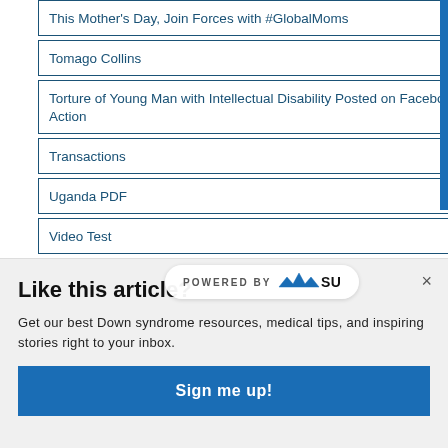This Mother's Day, Join Forces with #GlobalMoms
Tomago Collins
Torture of Young Man with Intellectual Disability Posted on Facebook is a Clarion Call to Action
Transactions
Uganda PDF
Video Test
Volunteer Registration
Volunteer with the Global Down Syndrome Foundatio...
Like this article?
Get our best Down syndrome resources, medical tips, and inspiring stories right to your inbox.
Sign me up!